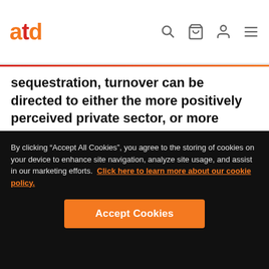atd
sequestration, turnover can be directed to either the more positively perceived private sector, or more forward-thinking government agencies. Leaders and managers are the driving forces that can determine the outcome.
Employee disengagement is the single most
By clicking “Accept All Cookies”, you agree to the storing of cookies on your device to enhance site navigation, analyze site usage, and assist in our marketing efforts.  Click here to learn more about our cookie policy.
Accept Cookies